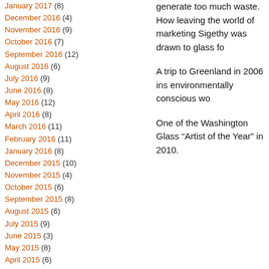January 2017 (8)
December 2016 (4)
November 2016 (9)
October 2016 (7)
September 2016 (12)
August 2016 (6)
July 2016 (9)
June 2016 (8)
May 2016 (12)
April 2016 (8)
March 2016 (11)
February 2016 (11)
January 2016 (8)
December 2015 (10)
November 2015 (4)
October 2015 (6)
September 2015 (8)
August 2015 (6)
July 2015 (9)
June 2015 (3)
May 2015 (8)
April 2015 (6)
March 2015 (9)
February 2015 (6)
January 2015 (6)
December 2014 (5)
generate too much waste. How leaving the world of marketing Sigethy was drawn to glass fo
A trip to Greenland in 2006 ins environmentally conscious wo
One of the Washington Glass “Artist of the Year” in 2010.